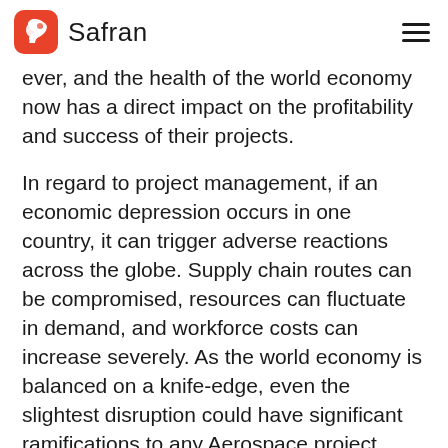Safran
ever, and the health of the world economy now has a direct impact on the profitability and success of their projects.
In regard to project management, if an economic depression occurs in one country, it can trigger adverse reactions across the globe. Supply chain routes can be compromised, resources can fluctuate in demand, and workforce costs can increase severely. As the world economy is balanced on a knife-edge, even the slightest disruption could have significant ramifications to any Aerospace project.
5. Cyber Security